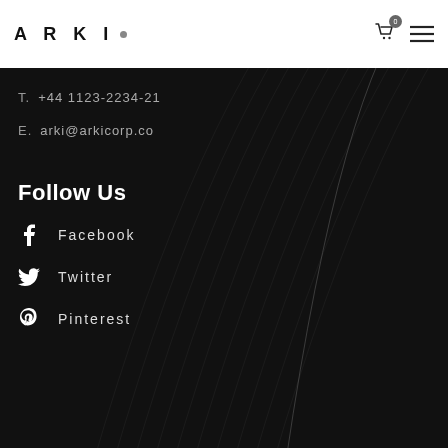ARKI
T.  +44 1123-2234-21
E.  arki@arkicorp.co
Follow Us
Facebook
Twitter
Pinterest